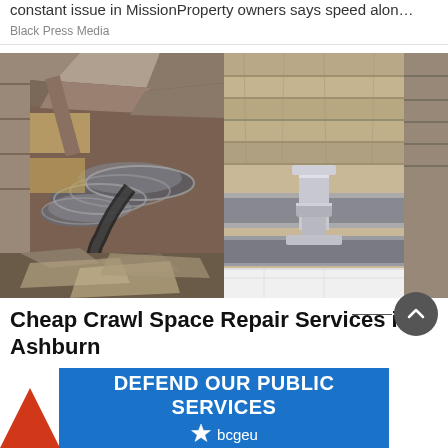constant issue in MissionProperty owners says speed alon…
Black Press Media
[Figure (photo): Side-by-side before and after photos of a crawl space. Left shows a dirty, cluttered crawl space with damaged insulation, debris, and flexible ductwork. Right shows a cleaned and encapsulated crawl space with white vapor barrier and metal support posts.]
Cheap Crawl Space Repair Services in Ashburn
[Figure (photo): Advertisement banner: DEFEND OUR PUBLIC SERVICES with bcgeu logo on blue background. A red arrow appears at bottom left.]